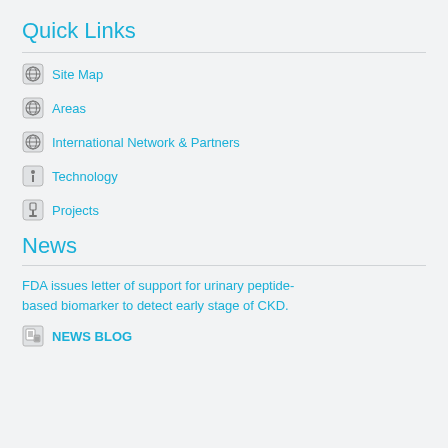Quick Links
Site Map
Areas
International Network & Partners
Technology
Projects
News
FDA issues letter of support for urinary peptide-based biomarker to detect early stage of CKD.
NEWS BLOG